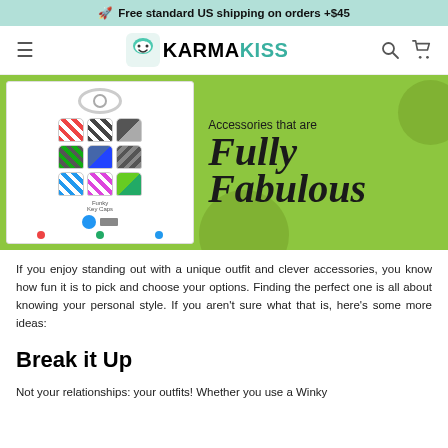🚀 Free standard US shipping on orders +$45
KARMAKISS
[Figure (photo): KarmaKiss banner image with green background showing colorful funky key caps product on the left and bold italic text 'Accessories that are Fully Fabulous' on the right]
If you enjoy standing out with a unique outfit and clever accessories, you know how fun it is to pick and choose your options. Finding the perfect one is all about knowing your personal style. If you aren't sure what that is, here's some more ideas:
Break it Up
Not your relationships: your outfits! Whether you use a Winky